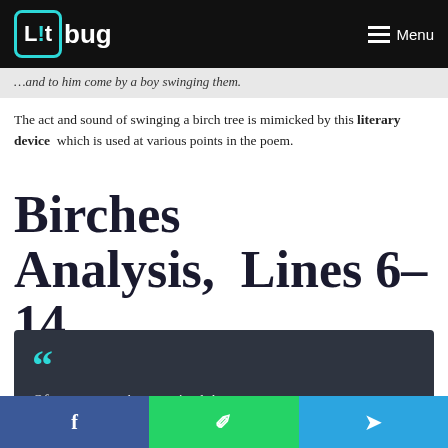Litbug — Menu navigation bar
and to him come by a boy swinging them.
The act and sound of swinging a birch tree is mimicked by this literary device which is used at various points in the poem.
Birches Analysis, Lines 6– 14
[Figure (other): Dark quote block with teal quotation marks and italic text: 'Often you must have noticed them']
Social share buttons: Facebook, WhatsApp, Telegram